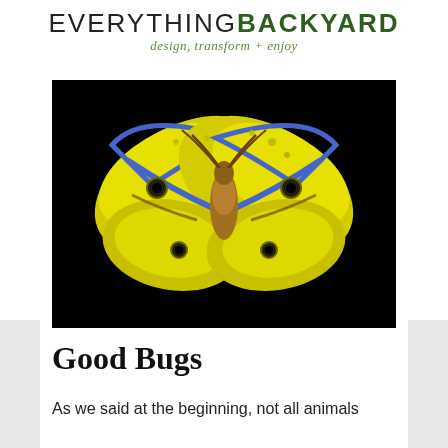EVERYTHING BACKYARD design, transform + enjoy
[Figure (photo): A yellow moth with spread wings and distinctive eye-spot markings on its wings, photographed against a black background. The moth appears to be a large silk moth species with vivid yellow-green coloring and blue-purple wing edges.]
Good Bugs
As we said at the beginning, not all animals